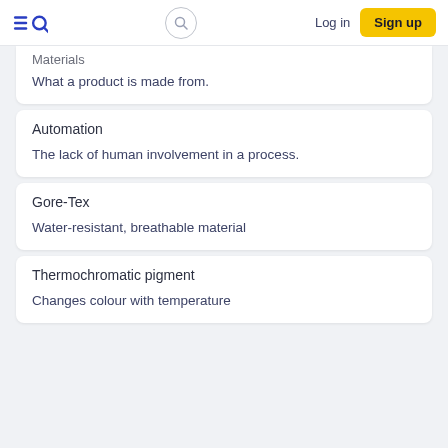Log in | Sign up
Materials
What a product is made from.
Automation
The lack of human involvement in a process.
Gore-Tex
Water-resistant, breathable material
Thermochromatic pigment
Changes colour with temperature